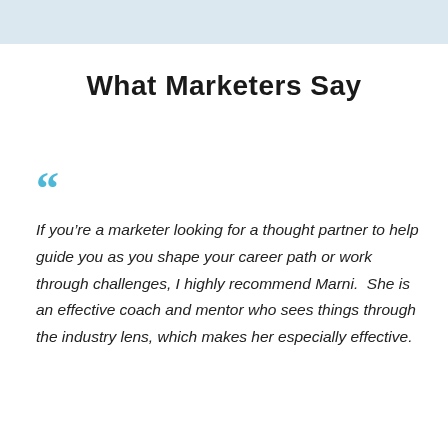What Marketers Say
“If you’re a marketer looking for a thought partner to help guide you as you shape your career path or work through challenges, I highly recommend Marni. She is an effective coach and mentor who sees things through the industry lens, which makes her especially effective.